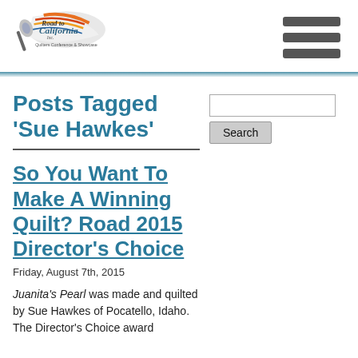Road to California – Quilters Conference & Showcase (logo and navigation)
Posts Tagged 'Sue Hawkes'
So You Want To Make A Winning Quilt? Road 2015 Director's Choice
Friday, August 7th, 2015
Juanita's Pearl was made and quilted by Sue Hawkes of Pocatello, Idaho. The Director's Choice award